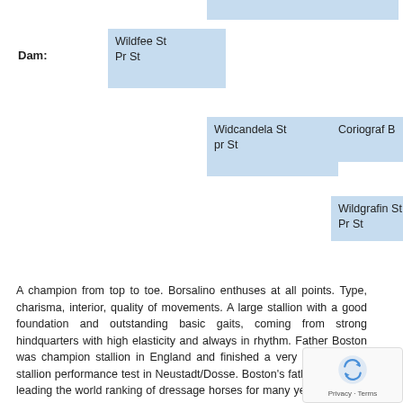[Figure (other): Partial pedigree diagram showing Dam lineage with boxes: Wildfee St Pr St, Widcandela St pr St, Coriograf B, Wildgrafin St Pr St]
A champion from top to toe. Borsalino enthuses at all points. Type, charisma, interior, quality of movements. A large stallion with a good foundation and outstanding basic gaits, coming from strong hindquarters with high elasticity and always in rhythm. Father Boston was champion stallion in England and finished a very good 30-day stallion performance test in Neustadt/Dosse. Boston's father Jazz was leading the world ranking of dressage horses for many years and was KWPN Stallion of the Year in 2011. He won many international Grand Prix tests. His most successful dressage offspring is Jerich